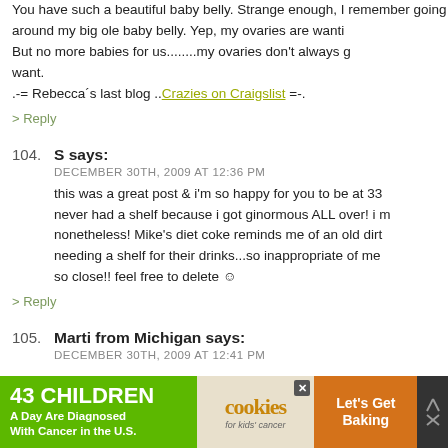You have such a beautiful baby belly. Strange enough, I remember going around my big ole baby belly. Yep, my ovaries are want... But no more babies for us........my ovaries don't always get what they want.
.-= Rebecca's last blog ..Crazies on Craigslist =-.
> Reply
104. S says: DECEMBER 30TH, 2009 AT 12:36 PM
this was a great post & i'm so happy for you to be at 33 weeks! i never had a shelf because i got ginormous ALL over! i m nonetheless! Mike's diet coke reminds me of an old dirt needing a shelf for their drinks...so inappropriate of me so close!! feel free to delete ☺
> Reply
105. Marti from Michigan says: DECEMBER 30TH, 2009 AT 12:41 PM
[Figure (infographic): Advertisement banner: '43 CHILDREN A Day Are Diagnosed With Cancer in the U.S.' with cookies for kids cancer and Let's Get Baking promotion]